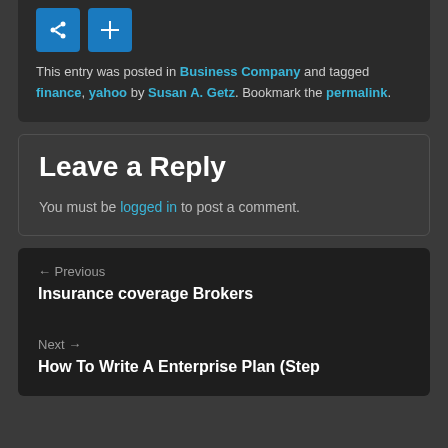This entry was posted in Business Company and tagged finance, yahoo by Susan A. Getz. Bookmark the permalink.
Leave a Reply
You must be logged in to post a comment.
← Previous
Insurance coverage Brokers
Next →
How To Write A Enterprise Plan (Step